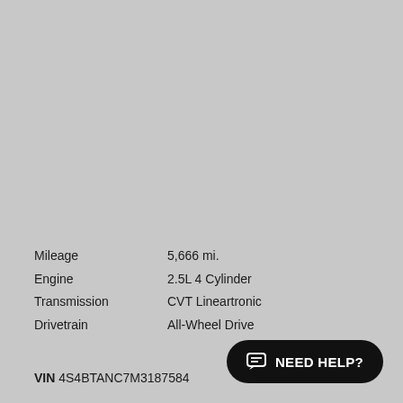[Figure (photo): Large grey/silver placeholder image occupying the top portion of the page]
Mileage    5,666 mi.
Engine    2.5L 4 Cylinder
Transmission    CVT Lineartronic
Drivetrain    All-Wheel Drive
VIN 4S4BTANC7M3187584